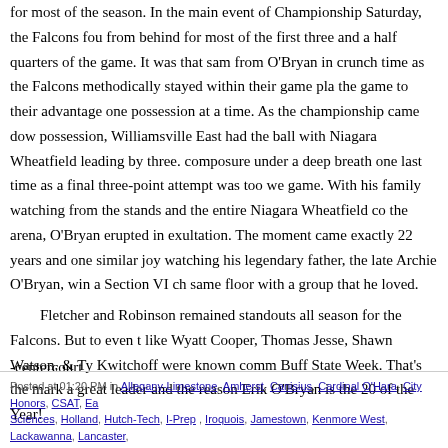for most of the season.  In the main event of Championship Saturday, the Falcons fou from behind for most of the first three and a half quarters of the game.  It was that sam from O'Bryan in crunch time as the Falcons methodically stayed within their game pla the game to their advantage one possession at a time.  As the championship came dow possession, Williamsville East had the ball with Niagara Wheatfield leading by three. composure under a deep breath one last time as a final three-point attempt was too we game.  With his family watching from the stands and the entire Niagara Wheatfield co the arena, O'Bryan erupted in exultation.  The moment came exactly 22 years and one similar joy watching his legendary father, the late Archie O'Bryan, win a Section VI ch same floor with a group that he loved.
Fletcher and Robinson remained standouts all season for the Falcons.  But to even t like Wyatt Cooper, Thomas Jesse, Shawn Watson, & Ty Kwitchoff were known comm Buff State Week.  That's the mark a great leader and the reason Erik O'Bryan is the 20 of the Year!
-centercourt
Posted at 01:20 PM in Allegany-Limestone, Amherst, Canisius, Cardinal O'Hara, City Honors, CSAT, Ea Sciences, Holland, Hutch-Tech, I-Prep , Iroquois, Jamestown, Kenmore West, Lackawanna, Lancaster,